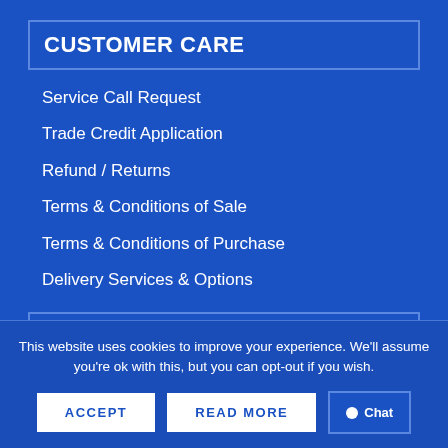CUSTOMER CARE
Service Call Request
Trade Credit Application
Refund / Returns
Terms & Conditions of Sale
Terms & Conditions of Purchase
Delivery Services & Options
COMPANY INFORMATION
This website uses cookies to improve your experience. We'll assume you're ok with this, but you can opt-out if you wish.
ACCEPT
READ MORE
Chat